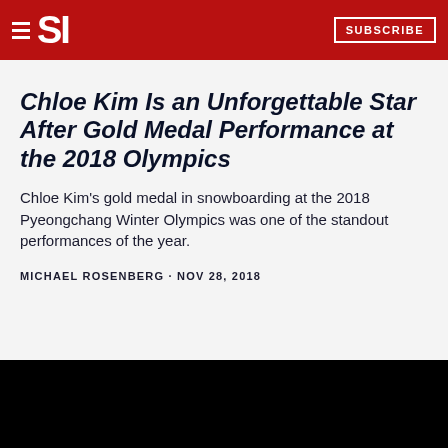SI · SUBSCRIBE
Chloe Kim Is an Unforgettable Star After Gold Medal Performance at the 2018 Olympics
Chloe Kim's gold medal in snowboarding at the 2018 Pyeongchang Winter Olympics was one of the standout performances of the year.
MICHAEL ROSENBERG · NOV 28, 2018
[Figure (photo): Black photo/image area at the bottom of the page]